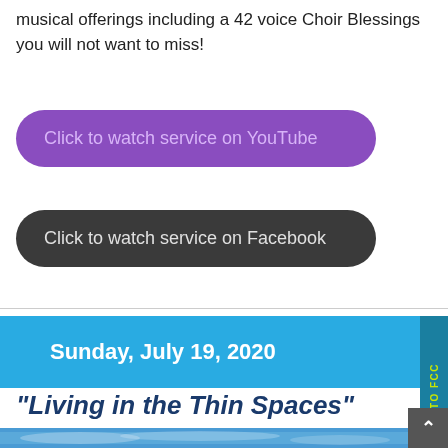musical offerings including a 42 voice Choir Blessings you will not want to miss!
Click to watch service on YouTube
Click to watch service on Facebook
Sunday, July 19, 2020
“Living in the Thin Spaces”
[Figure (photo): Sky/clouds photo partially visible at bottom]
DONATE TO FCC